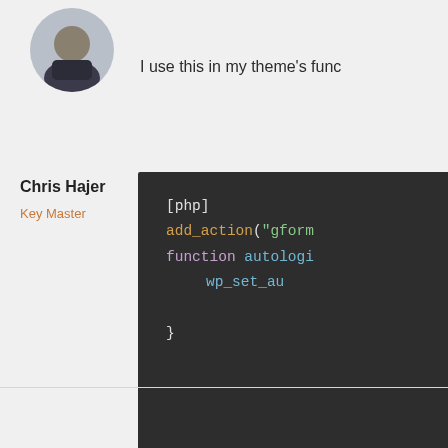[Figure (photo): Circular avatar photo of a person wearing a dark turtleneck, cropped at the top of the page]
I use this in my theme's func
Chris Hajer
Key Master
[Figure (screenshot): Dark-themed code block showing PHP snippet with add_action, function autologi, wp_set_au, and closing brace]
Posted 9 years ago on Wednesd